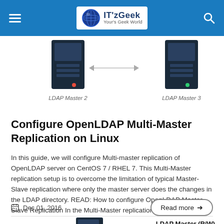IT'zGeek — Your's Geek World
[Figure (illustration): Two server icons labeled LDAP Master 2 and LDAP Master 3 connected by a double-headed arrow, representing multi-master replication]
Configure OpenLDAP Multi-Master Replication on Linux
In this guide, we will configure Multi-master replication of OpenLDAP server on CentOS 7 / RHEL 7. This Multi-Master replication setup is to overcome the limitation of typical Master-Slave replication where only the master server does the changes in the LDAP directory. READ: How to configure OpenLDAP Master-Slave Replication In the Multi-Master replication, two or [...]
Dec 01, 2016
Read more →
[Figure (illustration): Server icon labeled LDAP Master (R/W) (master.itzgeek.local)]